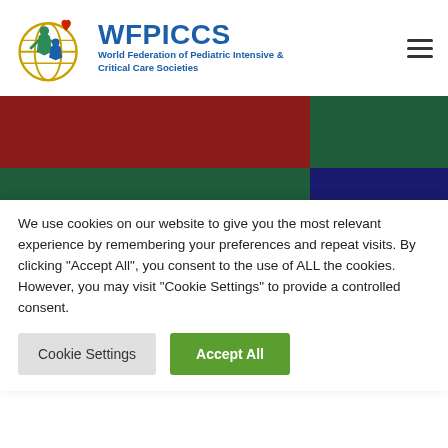[Figure (logo): WFPICCS logo with globe and children figures, red heart, and text 'WFPICCS World Federation of Pediatric Intensive & Critical Care Societies']
[Figure (other): Decorative banner with colored blocks: dark red top-left, dark green top-right, dark green bottom-left, dark navy bottom-right. White text 'Ann Thompson:' overlaid on bottom.]
We use cookies on our website to give you the most relevant experience by remembering your preferences and repeat visits. By clicking "Accept All", you consent to the use of ALL the cookies. However, you may visit "Cookie Settings" to provide a controlled consent.
Cookie Settings | Accept All